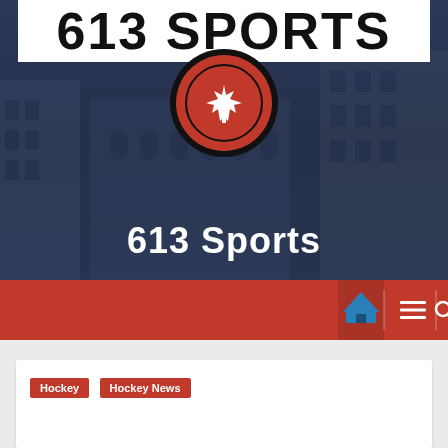[Figure (logo): 613 Sports website header with logo showing '613 SPORTS' text in black on white banner, red circular emblem with Canadian maple leaf below, over dark blue background with building silhouette. Tagline: '613 Sports - Ottawa Sports Live Here']
613 Sports
Ottawa Sports Live Here
[Figure (screenshot): Red navigation bar with home icon (blue house), hamburger menu icon, and search icon]
Hockey    Hockey News